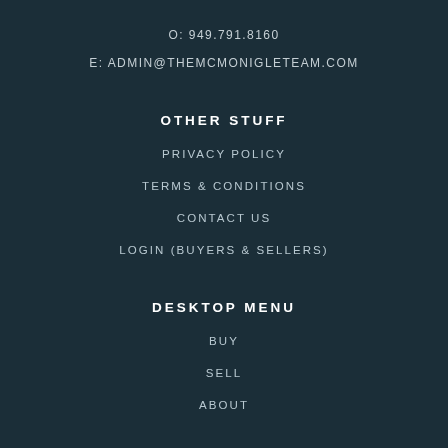O: 949.791.8160
E: ADMIN@THEMCMONIGLETEAM.COM
OTHER STUFF
PRIVACY POLICY
TERMS & CONDITIONS
CONTACT US
LOGIN (BUYERS & SELLERS)
DESKTOP MENU
BUY
SELL
ABOUT